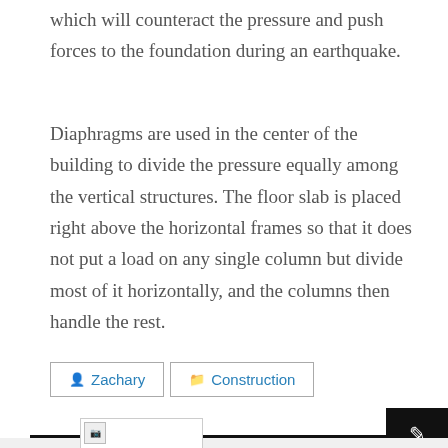which will counteract the pressure and push forces to the foundation during an earthquake.
Diaphragms are used in the center of the building to divide the pressure equally among the vertical structures. The floor slab is placed right above the horizontal frames so that it does not put a load on any single column but divide most of it horizontally, and the columns then handle the rest.
Zachary  Construction
[Figure (other): Broken image placeholder thumbnail in bottom section of page]